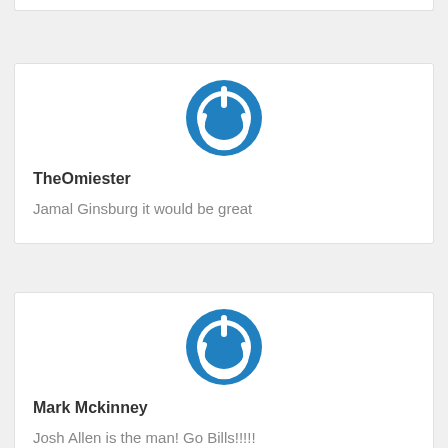[Figure (logo): Blue power button icon - circular with power symbol]
TheOmiester
Jamal Ginsburg it would be great
[Figure (logo): Blue power button icon - circular with power symbol]
Mark Mckinney
Josh Allen is the man! Go Bills!!!!!